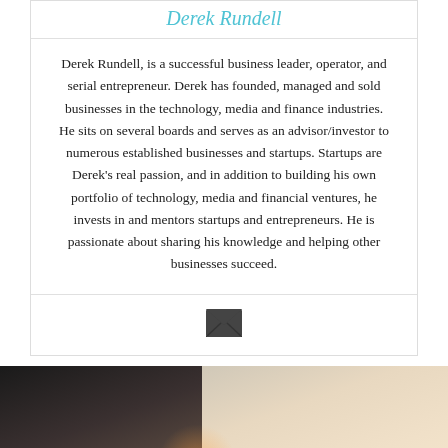Derek Rundell
Derek Rundell, is a successful business leader, operator, and serial entrepreneur. Derek has founded, managed and sold businesses in the technology, media and finance industries. He sits on several boards and serves as an advisor/investor to numerous established businesses and startups. Startups are Derek's real passion, and in addition to building his own portfolio of technology, media and financial ventures, he invests in and mentors startups and entrepreneurs. He is passionate about sharing his knowledge and helping other businesses succeed.
[Figure (illustration): Email envelope icon (dark filled envelope symbol)]
[Figure (photo): Two people sitting at a table in a business meeting setting; one person wearing dark shirt on left, another in white shirt on right, appearing to review documents.]